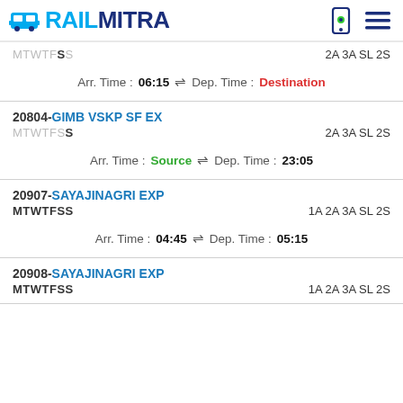RAILMITRA
MTWTFSS  2A 3A SL 2S  Arr. Time :06:15 ⇌ Dep. Time :Destination
20804-GIMB VSKP SF EX  MTWTFSS  2A 3A SL 2S  Arr. Time :Source ⇌ Dep. Time :23:05
20907-SAYAJINAGRI EXP  MTWTFSS  1A 2A 3A SL 2S  Arr. Time :04:45 ⇌ Dep. Time :05:15
20908-SAYAJINAGRI EXP  MTWTFSS  1A 2A 3A SL 2S